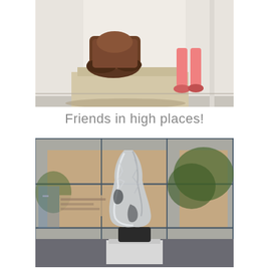[Figure (photo): Close-up photo of the base/feet of a large brown sculpture on a pedestal in a museum gallery, with a child in pink pants and pink shoes visible standing next to the sculpture]
Friends in high places!
[Figure (photo): Photo of a large reflective metallic sculpture on a white pedestal in a museum lobby with glass walls and trees visible outside]